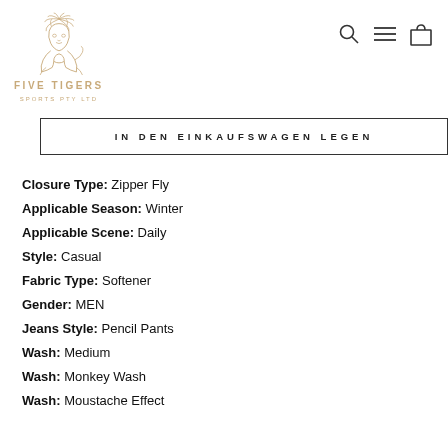[Figure (logo): Five Tigers Sports Pty Ltd lion logo in gold/tan color]
IN DEN EINKAUFSWAGEN LEGEN
Closure Type: Zipper Fly
Applicable Season: Winter
Applicable Scene: Daily
Style: Casual
Fabric Type: Softener
Gender: MEN
Jeans Style: Pencil Pants
Wash: Medium
Wash: Monkey Wash
Wash: Moustache Effect